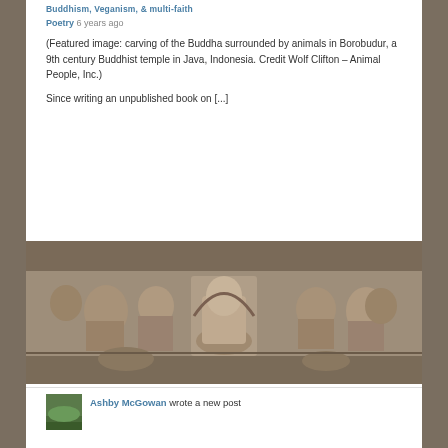Buddhism, Veganism, & multi-faith
Poetry 6 years ago
(Featured image: carving of the Buddha surrounded by animals in Borobudur, a 9th century Buddhist temple in Java, Indonesia. Credit Wolf Clifton – Animal People, Inc.)
Since writing an unpublished book on [...]
[Figure (photo): Stone carving relief at Borobudur, a 9th century Buddhist temple in Java, Indonesia, showing the Buddha surrounded by animals and figures.]
[Figure (photo): Small thumbnail of a landscape, likely a green hillside or field.]
Ashby McGowan wrote a new post